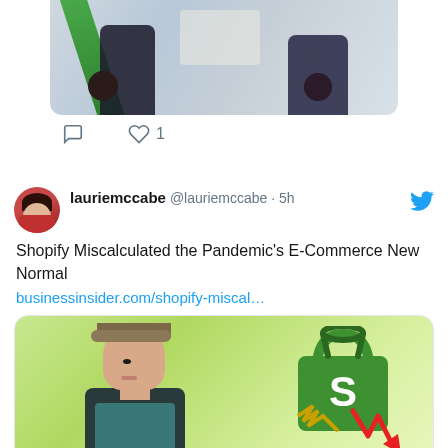[Figure (screenshot): Partial Twitter feed screenshot showing top of a tweet with an embedded image of people in an office/meeting setting with a green diagonal element, plus a like count of 1]
1
[Figure (screenshot): Twitter avatar of lauriemccabe - woman with dark hair in red jacket]
lauriemccabe @lauriemccabe · 5h
Shopify Miscalculated the Pandemic's E-Commerce New Normal
businessinsider.com/shopify-miscal…
[Figure (photo): Shopify article thumbnail showing a young man with a flat cap next to the Shopify green shopping bag logo with a red downward arrow chart, on a green gradient background]
businessinsider.com
How Shopify wildly miscalculated its bet